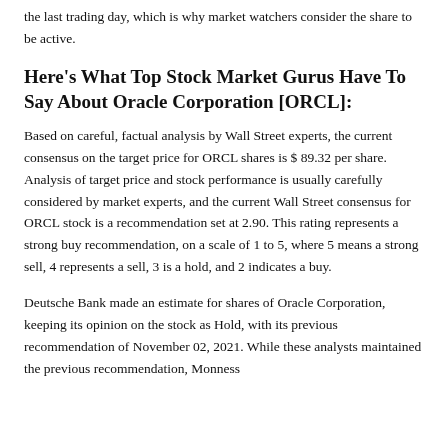the last trading day, which is why market watchers consider the share to be active.
Here's What Top Stock Market Gurus Have To Say About Oracle Corporation [ORCL]:
Based on careful, factual analysis by Wall Street experts, the current consensus on the target price for ORCL shares is $ 89.32 per share. Analysis of target price and stock performance is usually carefully considered by market experts, and the current Wall Street consensus for ORCL stock is a recommendation set at 2.90. This rating represents a strong buy recommendation, on a scale of 1 to 5, where 5 means a strong sell, 4 represents a sell, 3 is a hold, and 2 indicates a buy.
Deutsche Bank made an estimate for shares of Oracle Corporation, keeping its opinion on the stock as Hold, with its previous recommendation of November 02, 2021. While these analysts maintained the previous recommendation, Monness